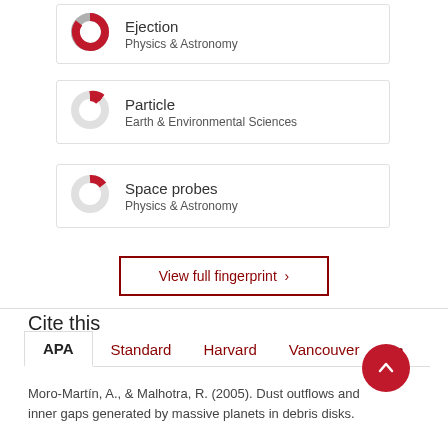[Figure (donut-chart): Partial donut chart for 'Ejection' - Physics & Astronomy keyword fingerprint]
Ejection
Physics & Astronomy
[Figure (donut-chart): Partial donut chart for 'Particle' - Earth & Environmental Sciences keyword fingerprint]
Particle
Earth & Environmental Sciences
[Figure (donut-chart): Partial donut chart for 'Space probes' - Physics & Astronomy keyword fingerprint]
Space probes
Physics & Astronomy
View full fingerprint ›
Cite this
APA   Standard   Harvard   Vancouver   •••
Moro-Martín, A., & Malhotra, R. (2005). Dust outflows and inner gaps generated by massive planets in debris disks.